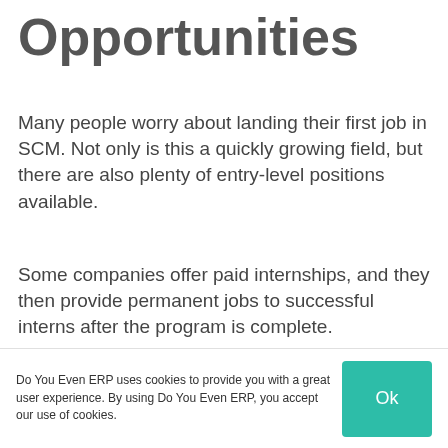Opportunities
Many people worry about landing their first job in SCM. Not only is this a quickly growing field, but there are also plenty of entry-level positions available.
Some companies offer paid internships, and they then provide permanent jobs to successful interns after the program is complete.
Do You Even ERP uses cookies to provide you with a great user experience. By using Do You Even ERP, you accept our use of cookies.